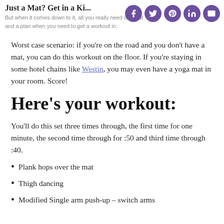Just a Mat? Get in a Ki...
But when it comes down to it, all you really need is a mat and a plan when you need to get a workout in.
Worst case scenario: if you're on the road and you don't have a mat, you can do this workout on the floor. If you're staying in some hotel chains like Westin, you may even have a yoga mat in your room. Score!
Here's your workout:
You'll do this set three times through, the first time for one minute, the second time through for :50 and third time through :40.
Plank hops over the mat
Thigh dancing
Modified Single arm push-up – switch arms